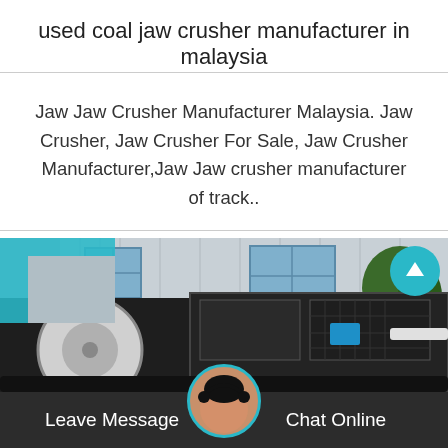used coal jaw crusher manufacturer in malaysia
Jaw Jaw Crusher Manufacturer Malaysia. Jaw Crusher, Jaw Crusher For Sale, Jaw Crusher Manufacturer,Jaw Jaw crusher manufacturer of track..
[Figure (photo): Photo of a mobile jaw crusher machine parked outdoors in front of an industrial building, with trees visible in the background. A teal bracket logo is visible in the upper-left corner of the image. A teal scroll-up button appears in the upper-right area.]
Leave Message   Chat Online